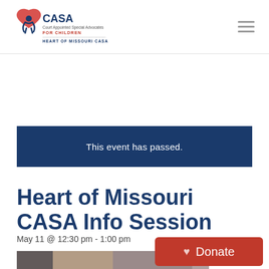[Figure (logo): CASA Court Appointed Special Advocates for Children - Heart of Missouri CASA logo with red heart and blue figure]
This event has passed.
Heart of Missouri CASA Info Session
May 11 @ 12:30 pm - 1:00 pm
[Figure (photo): Photo of a woman with dark hair and a child, partial view]
[Figure (other): Donate button with heart icon]